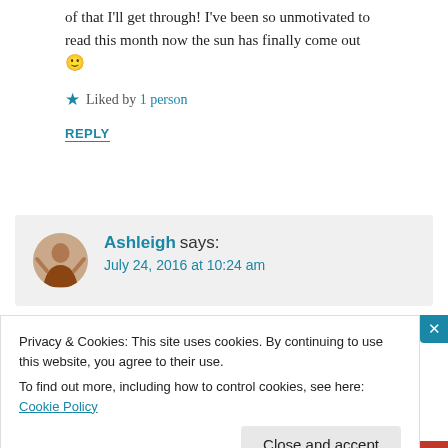of that I'll get through! I've been so unmotivated to read this month now the sun has finally come out 🙂
★ Liked by 1 person
REPLY
Ashleigh says: July 24, 2016 at 10:24 am
Privacy & Cookies: This site uses cookies. By continuing to use this website, you agree to their use.
To find out more, including how to control cookies, see here: Cookie Policy
Close and accept